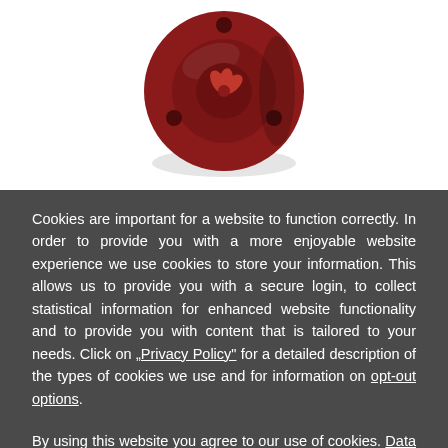[Figure (photo): A dark red circular mechanical component (flange or coupling) with holes and a central embossed symbol, viewed from the front, on a white background.]
Cookies are important for a website to function correctly. In order to provide you with a more enjoyable website experience we use cookies to store your information. This allows us to provide you with a secure login, to collect statistical information for enhanced website functionality and to provide you with content that is tailored to your needs. Click on „Privacy Policy" for a detailed description of the types of cookies we use and for information on opt-out options.
By using this website you agree to our use of cookies. Data privacy policy.
I agree.